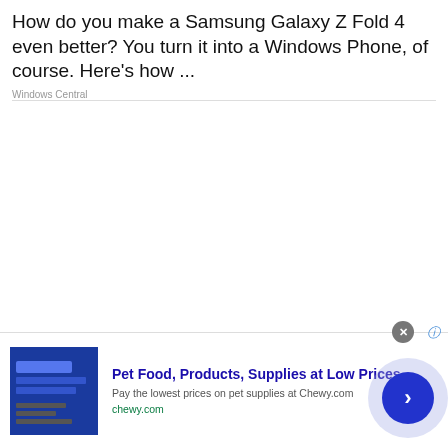How do you make a Samsung Galaxy Z Fold 4 even better? You turn it into a Windows Phone, of course. Here's how ...
Windows Central
[Figure (other): Advertisement banner for Chewy.com: Pet Food, Products, Supplies at Low Prices - Pay the lowest prices on pet supplies at Chewy.com]